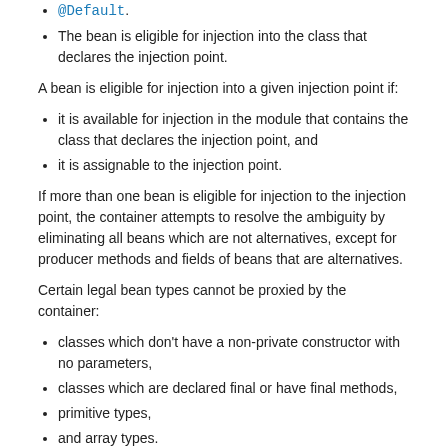@Default.
The bean is eligible for injection into the class that declares the injection point.
A bean is eligible for injection into a given injection point if:
it is available for injection in the module that contains the class that declares the injection point, and
it is assignable to the injection point.
If more than one bean is eligible for injection to the injection point, the container attempts to resolve the ambiguity by eliminating all beans which are not alternatives, except for producer methods and fields of beans that are alternatives.
Certain legal bean types cannot be proxied by the container:
classes which don't have a non-private constructor with no parameters,
classes which are declared final or have final methods,
primitive types,
and array types.
An injection point whose declared type cannot be proxied by the container must not resolve to a bean with a normal scope.
EL name resolution
EL names are resolved when Unified EL expressions are evaluated. An EL name resolves to a bean if:
the bean has the given EL name, and